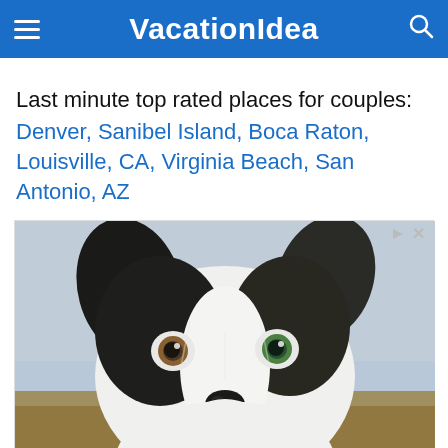VacationIdea
Last minute top rated places for couples:
Denver, Sanibel Island, Boca Raton, Louisville, CA, Virginia Beach, San Antonio, AZ
[Figure (photo): Advertisement showing a close-up photo of a black and white border collie puppy with striking blue and green eyes, looking directly at camera. Below the photo is an ad for XO PUPS - 'Love Is A Four Legged Word' with location details for Chantilly 12-8PM.]